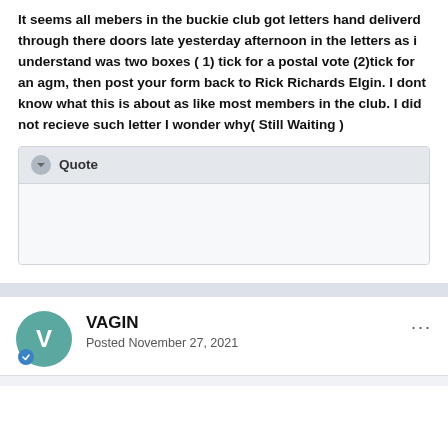It seems all mebers in the buckie club got letters hand deliverd through there doors late yesterday afternoon  in the letters as i understand was two boxes ( 1) tick for a postal vote  (2)tick for an agm, then post your form back to Rick Richards Elgin. I dont know what this is about as like most members in the club.  I did not recieve such letter I wonder why( Still Waiting )
Quote
VAGIN
Posted November 27, 2021